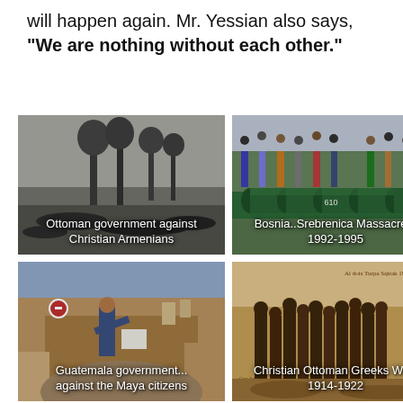will happen again. Mr. Yessian also says, "We are nothing without each other."
[Figure (photo): Black and white historical photo of bodies on ground with trees in background. Caption: Ottoman government against Christian Armenians]
[Figure (photo): Color photo of rows of green coffins with people standing in background. Caption: Bosnia..Srebrenica Massacre... 1992-1995]
[Figure (photo): Color photo of a man examining an excavation site. Caption: Guatemala government... against the Maya citizens]
[Figure (photo): Sepia historical photo of a group of people. Caption: Christian Ottoman Greeks WWI 1914-1922]
[Figure (photo): Black and white historical photo, partially visible at bottom of page.]
[Figure (photo): Black and white historical photo of bodies in snow, partially visible at bottom of page.]